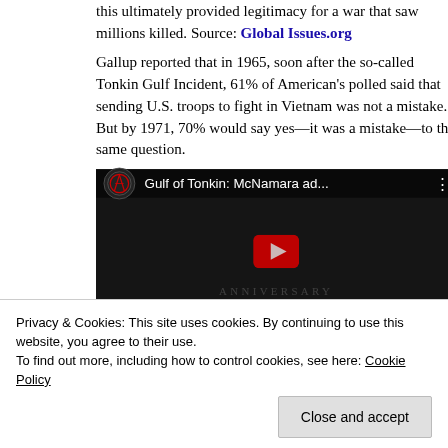this ultimately provided legitimacy for a war that saw millions killed. Source: Global Issues.org
Gallup reported that in 1965, soon after the so-called Tonkin Gulf Incident, 61% of American's polled said that sending U.S. troops to fight in Vietnam was not a mistake. But by 1971, 70% would say yes—it was a mistake—to the same question.
[Figure (screenshot): YouTube video thumbnail for 'Gulf of Tonkin: McNamara ad...' showing a dark historical background image with a red play button in the center and a channel logo in the top left.]
Privacy & Cookies: This site uses cookies. By continuing to use this website, you agree to their use.
To find out more, including how to control cookies, see here: Cookie Policy
American people were fooled but by 1971, only a few were